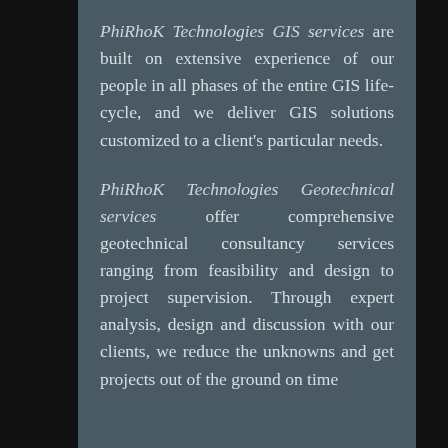PhiRhoK Technologies GIS services are built on extensive experience of our people in all phases of the entire GIS life-cycle, and we deliver GIS solutions customized to a client's particular needs.
PhiRhoK Technologies Geotechnical services offer comprehensive geotechnical consultancy services ranging from feasibility and design to project supervision. Through expert analysis, design and discussion with our clients, we reduce the unknowns and get projects out of the ground on time